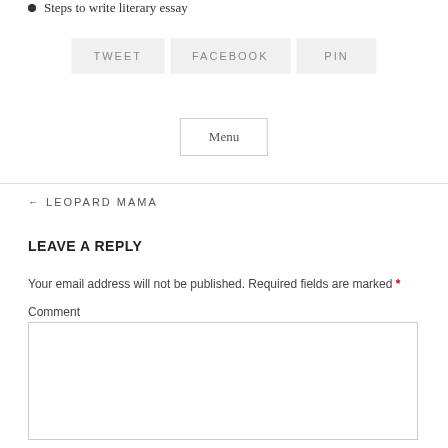Steps to write literary essay
TWEET   FACEBOOK   PIN
Menu
← LEOPARD MAMA
LEAVE A REPLY
Your email address will not be published. Required fields are marked *
Comment